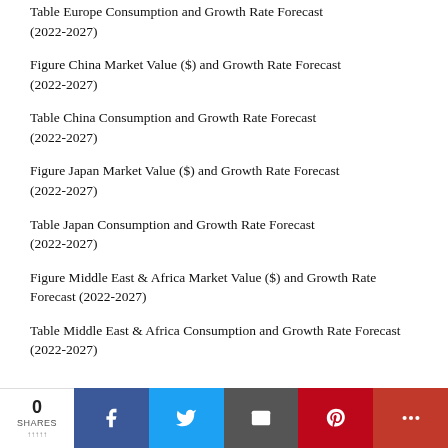Table Europe Consumption and Growth Rate Forecast (2022-2027)
Figure China Market Value ($) and Growth Rate Forecast (2022-2027)
Table China Consumption and Growth Rate Forecast (2022-2027)
Figure Japan Market Value ($) and Growth Rate Forecast (2022-2027)
Table Japan Consumption and Growth Rate Forecast (2022-2027)
Figure Middle East & Africa Market Value ($) and Growth Rate Forecast (2022-2027)
Table Middle East & Africa Consumption and Growth Rate Forecast (2022-2027)
0 SHARES